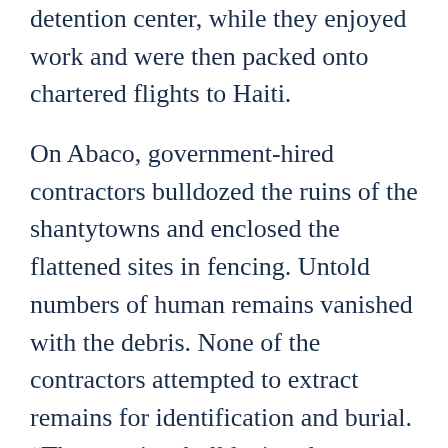detention center, while they enjoyed work and were then packed onto chartered flights to Haiti.
On Abaco, government-hired contractors bulldozed the ruins of the shantytowns and enclosed the flattened sites in fencing. Untold numbers of human remains vanished with the debris. None of the contractors attempted to extract remains for identification and burial. “They are just bulldozing these communities and forcibly dispossessing people,” some of whom “are looking for the bodies of their kids,” said Bahamian human rights activist Paco Nunez.
UN observers, NGOs, and diplomats objected to